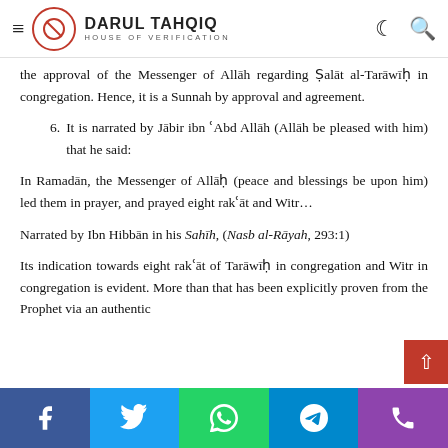DARUL TAHQIQ — HOUSE OF VERIFICATION
the approval of the Messenger of Allāh regarding Ṣalāt al-Tarāwīḥ in congregation. Hence, it is a Sunnah by approval and agreement.
6. It is narrated by Jābir ibn ʿAbd Allāh (Allāh be pleased with him) that he said:
In Ramadān, the Messenger of Allāḥ (peace and blessings be upon him) led them in prayer, and prayed eight rakʿāt and Witr…
Narrated by Ibn Hibbān in his Sahīh, (Nasb al-Rāyah, 293:1)
Its indication towards eight rakʿāt of Tarāwīḥ in congregation and Witr in congregation is evident. More than that has been explicitly proven from the Prophet via an authentic